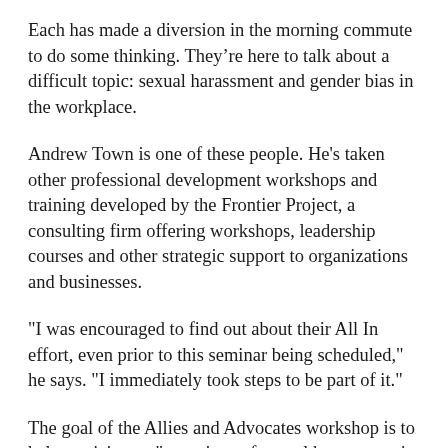Each has made a diversion in the morning commute to do some thinking. They're here to talk about a difficult topic: sexual harassment and gender bias in the workplace.
Andrew Town is one of these people. He's taken other professional development workshops and training developed by the Frontier Project, a consulting firm offering workshops, leadership courses and other strategic support to organizations and businesses.
"I was encouraged to find out about their All In effort, even prior to this seminar being scheduled," he says. "I immediately took steps to be part of it."
The goal of the Allies and Advocates workshop is to help participants "spot signs of sexual harassment in the workplace, things that perpetuate it and to help each